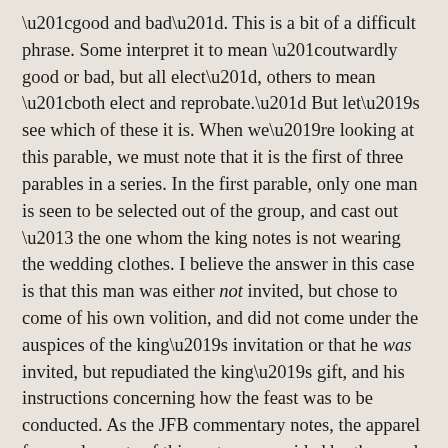“good and bad”. This is a bit of a difficult phrase. Some interpret it to mean “outwardly good or bad, but all elect”, others to mean “both elect and reprobate.” But let’s see which of these it is. When we’re looking at this parable, we must note that it is the first of three parables in a series. In the first parable, only one man is seen to be selected out of the group, and cast out – the one whom the king notes is not wearing the wedding clothes. I believe the answer in this case is that this man was either not invited, but chose to come of his own volition, and did not come under the auspices of the king’s invitation or that he was invited, but repudiated the king’s gift, and his instructions concerning how the feast was to be conducted. As the JFB commentary notes, the apparel for royal events of this sort was provided by the royal house – and in any case, what were those who came in from the hedges and highways to be wearing otherwise? This man, however, came wearing his own clothes, and not those provided. In either case, he is doing something contrary to the explicit desire of the king – he is coming uninvited or he is coming without the proper clothes, which the king provided. Given the context – where the self-righteous Jews are being told that the kingdom is being given over to another people, I believe it refers to